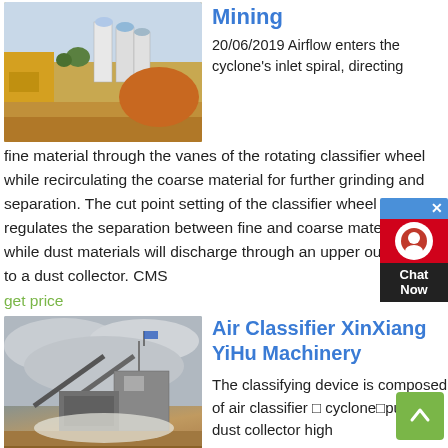[Figure (photo): Mining site with industrial equipment and sandy terrain]
Mining
20/06/2019 Airflow enters the cyclone’s inlet spiral, directing fine material through the vanes of the rotating classifier wheel while recirculating the coarse material for further grinding and separation. The cut point setting of the classifier wheel regulates the separation between fine and coarse material, while dust materials will discharge through an upper outlet duct to a dust collector. CMS
get price
[Figure (photo): Crushing and classification plant at a mining/quarry site under cloudy sky]
Air Classifier XinXiang YiHu Machinery
The classifying device is composed of air classifier □ cyclone□pulse dust collector high